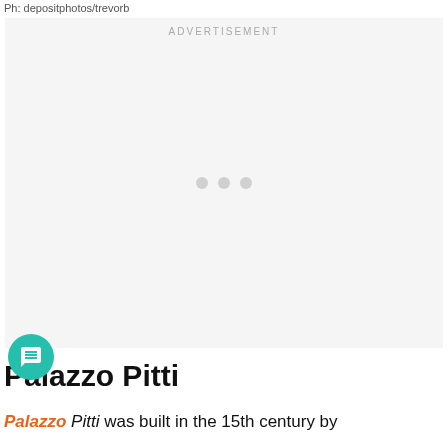Ph: depositphotos/trevorb
[Figure (other): Advertisement placeholder box with ADVERTISEMENT label and three grey loading dots]
Palazzo Pitti
Palazzo Pitti was built in the 15th century by